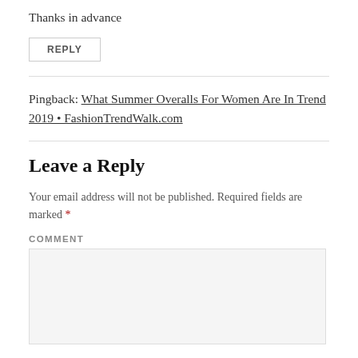Thanks in advance
REPLY
Pingback: What Summer Overalls For Women Are In Trend 2019 • FashionTrendWalk.com
Leave a Reply
Your email address will not be published. Required fields are marked *
COMMENT